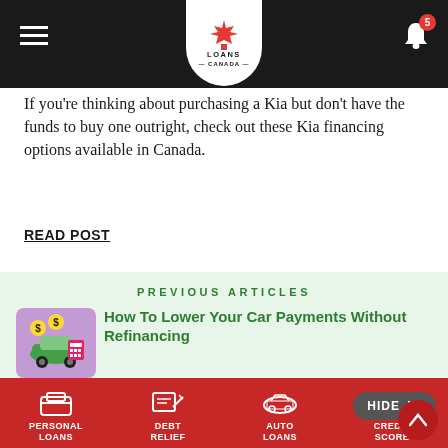[Figure (logo): Loans Canada logo in a white shield/badge shape with a red maple leaf, dark header bar with hamburger menu and notification bell with badge showing 5]
If you're thinking about purchasing a Kia but don't have the funds to buy one outright, check out these Kia financing options available in Canada.
READ POST
PREVIOUS ARTICLES
[Figure (illustration): Article thumbnail showing a green car with dollar signs and a calculator on a purple/lavender background]
How To Lower Your Car Payments Without Refinancing
READ POST
[Figure (illustration): Article thumbnail showing a calendar with a dollar coin on a red background]
Can You Get A 6-Month Loan In Canada?
PERSONAL LOANS  DEBT RELIEF  AUTO LOANS  CREDIT SCORE